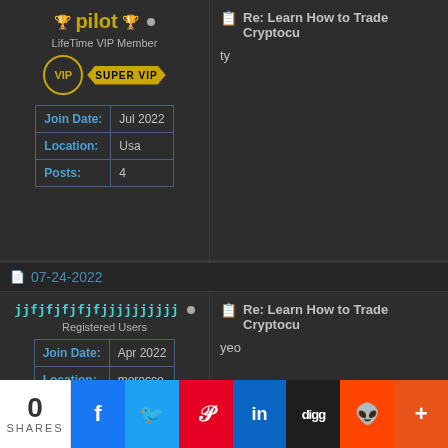🏆pilot🏆 • (online dot)
LifeTime VIP Member
[Figure (infographic): VIP circle badge and SUPER VIP ribbon badge in gold]
| Join Date: | Jul 2022 |
| Location: | Usa |
| Posts: | 4 |
Re: Learn How to Trade Cryptocurrency
ty
07-24-2022
jjfjfjfjfjfjjjjjjjjjj • (online dot)
Registered Users
| Join Date: | Apr 2022 |
| Location: | morocco |
| Posts: | 12 |
Re: Learn How to Trade Cryptocurrency
yeo
0 SHARES